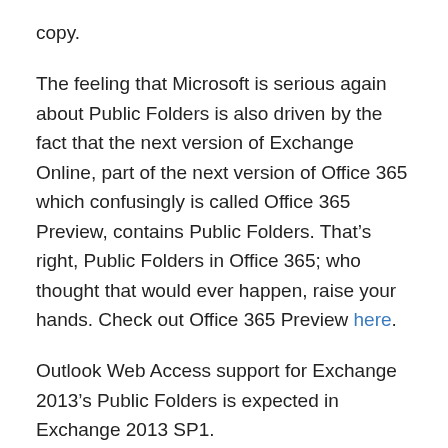copy.
The feeling that Microsoft is serious again about Public Folders is also driven by the fact that the next version of Exchange Online, part of the next version of Office 365 which confusingly is called Office 365 Preview, contains Public Folders. That’s right, Public Folders in Office 365; who thought that would ever happen, raise your hands. Check out Office 365 Preview here.
Outlook Web Access support for Exchange 2013’s Public Folders is expected in Exchange 2013 SP1.
Storage Engine
Exchange 2013 sticks with the ESE as the database engine of choice. The Information Store processes, now called Managed Store, have been revised, utilizing per